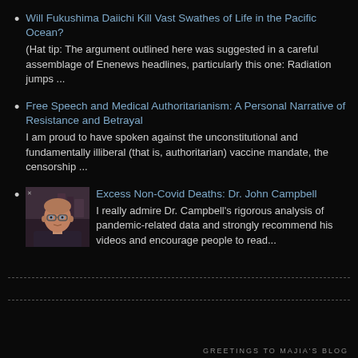Will Fukushima Daiichi Kill Vast Swathes of Life in the Pacific Ocean?
(Hat tip: The argument outlined here was suggested in a careful assemblage of Enenews headlines, particularly this one: Radiation jumps ...
Free Speech and Medical Authoritarianism: A Personal Narrative of Resistance and Betrayal
I am proud to have spoken against the unconstitutional and fundamentally illiberal (that is, authoritarian) vaccine mandate, the censorship ...
Excess Non-Covid Deaths: Dr. John Campbell
I really admire Dr. Campbell's rigorous analysis of pandemic-related data and strongly recommend his videos and encourage people to read...
GREETINGS TO MAJIA'S BLOG